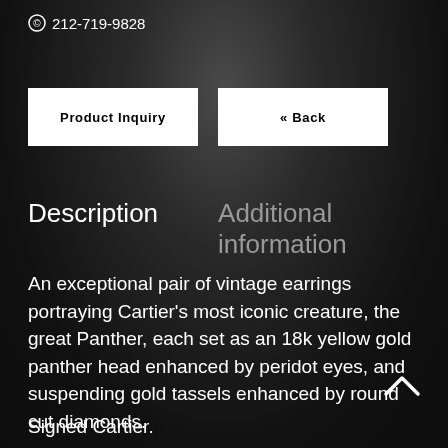212-719-9828
Product Inquiry
« Back
Description    Additional information
An exceptional pair of vintage earrings portraying Cartier's most iconic creature, the great Panther, each set as an 18k yellow gold panther head enhanced by peridot eyes, and suspending gold tassels enhanced by round cut diamonds.
Signed Cartier.